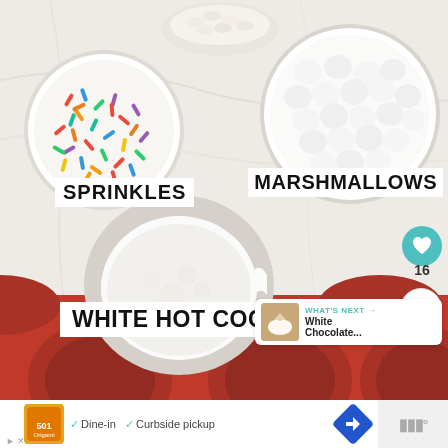[Figure (photo): Overhead photo of baking ingredients in white bowls on a marble surface: colorful sprinkles, mini white marshmallows, white hot cocoa powder, and partially visible white chocolate chips. A red silicone mold tray is visible at bottom. Labels read SPRINKLES, MARSHMALLOWS, WHITE HOT COCOA. UI overlays include a teal heart button, share button with count 16, and a 'WHAT'S NEXT' panel for White Chocolate...]
SPRINKLES
MARSHMALLOWS
WHITE HOT COCOA
WHAT'S NEXT → White Chocolate...
16
✓ Dine-in   ✓ Curbside pickup